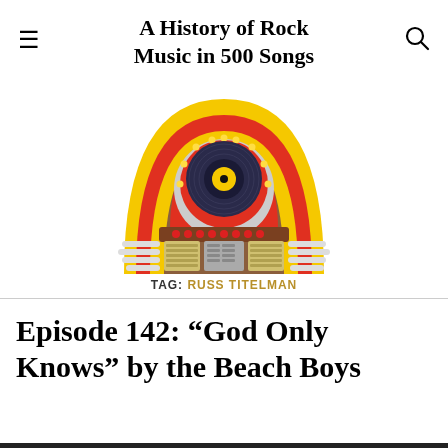A History of Rock Music in 500 Songs
[Figure (illustration): Colorful retro jukebox illustration with yellow, red, and orange arched body, illuminated marquee with small round lights, dark record visible in center, silver and yellow selector panel at bottom]
TAG: RUSS TITELMAN
Episode 142: “God Only Knows” by the Beach Boys